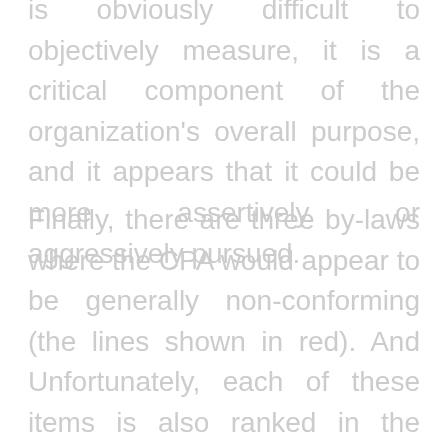is obviously difficult to objectively measure, it is a critical component of the organization's overall purpose, and it appears that it could be more assertively or aggressively pursued.
Finally, there are three by-laws where the CPA would appear to be generally non-conforming (the lines shown in red). And Unfortunately, each of these items is also ranked in the "high" criticality category. Article 2 subjectively summarizes the broad goals of the organization,